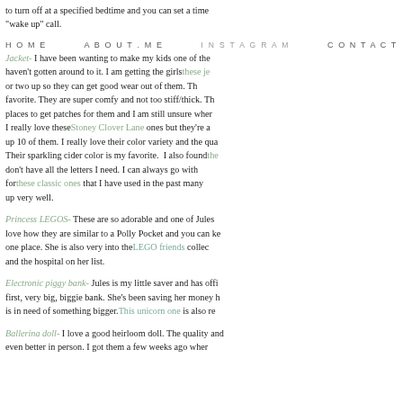to turn off at a specified bedtime and you can set a time "wake up" call.
HOME   ABOUT.ME   CONTACT   INSTAGRAM
Jacket- I have been wanting to make my kids one of the haven't gotten around to it. I am getting the girls these je or two up so they can get good wear out of them. Th favorite. They are super comfy and not too stiff/thick. Th places to get patches for them and I am still unsure wher I really love these Stoney Clover Lane ones but they're a up 10 of them. I really love their color variety and the qua Their sparkling cider color is my favorite. I also found the don't have all the letters I need. I can always go with for these classic ones that I have used in the past many up very well.
Princess LEGOS- These are so adorable and one of Jules love how they are similar to a Polly Pocket and you can ke one place. She is also very into the LEGO friends collec and the hospital on her list.
Electronic piggy bank- Jules is my little saver and has offi first, very big, biggie bank. She's been saving her money h is in need of something bigger. This unicorn one is also re
Ballerina doll- I love a good heirloom doll. The quality and even better in person. I got them a few weeks ago wher